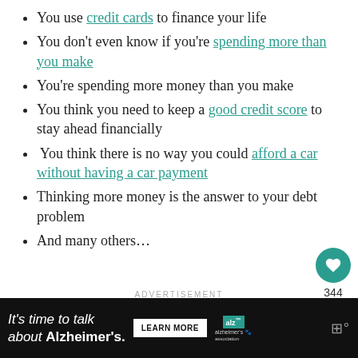You use credit cards to finance your life
You don't even know if you're spending more than you make
You're spending more money than you make
You think you need to keep a good credit score to stay ahead financially
You think there is no way you could afford a car without having a car payment
Thinking more money is the answer to your debt problem
And many others…
ADVERTISEMENT
[Figure (screenshot): Alzheimer's Association advertisement banner: 'It's time to talk about Alzheimer's.' with Learn More button and logo]